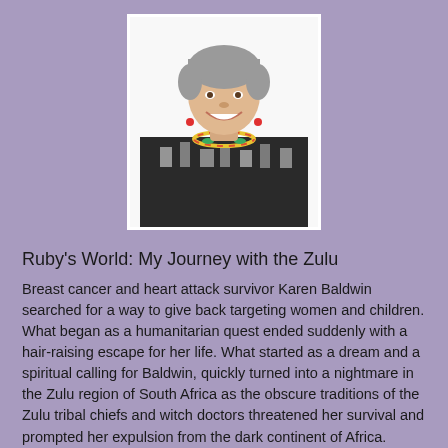[Figure (photo): Portrait photo of a smiling woman with short grey hair, wearing a black and white patterned top and colorful necklace, on a white background.]
Ruby's World: My Journey with the Zulu
Breast cancer and heart attack survivor Karen Baldwin searched for a way to give back targeting women and children. What began as a humanitarian quest ended suddenly with a hair-raising escape for her life. What started as a dream and a spiritual calling for Baldwin, quickly turned into a nightmare in the Zulu region of South Africa as the obscure traditions of the Zulu tribal chiefs and witch doctors threatened her survival and prompted her expulsion from the dark continent of Africa.